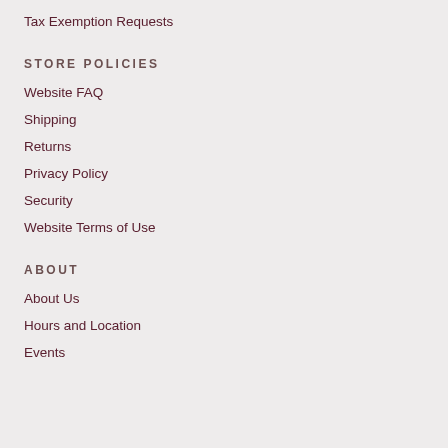Tax Exemption Requests
STORE POLICIES
Website FAQ
Shipping
Returns
Privacy Policy
Security
Website Terms of Use
ABOUT
About Us
Hours and Location
Events